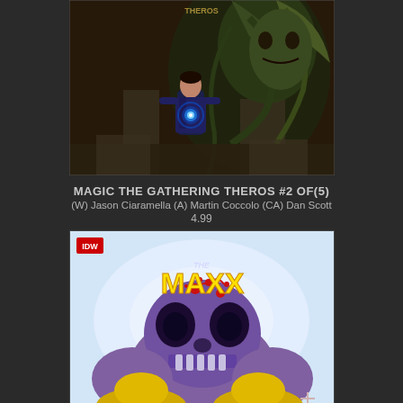[Figure (illustration): Comic book cover for Magic The Gathering Theros #2 showing a figure with glowing blue orb facing a large creature with vines/tentacles, dark fantasy art style]
MAGIC THE GATHERING THEROS #2 OF(5)
(W) Jason Ciaramella (A) Martin Coccolo (CA) Dan Scott
4.99
[Figure (illustration): Comic book cover for Maxx Maxximized #1, IDW Publishing, showing a large purple creature/skull figure with yellow title text 'THE MAXX' at top, blood splatter details, white/blue background]
MAXX MAXXIMIZED #1